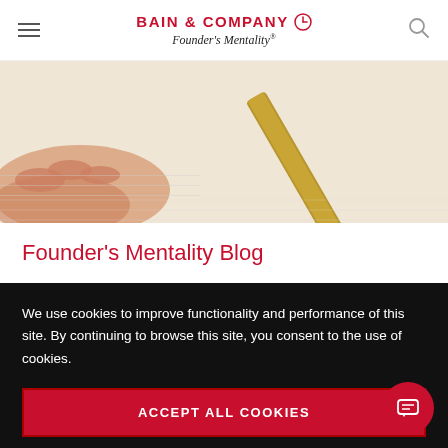BAIN & COMPANY Founder's Mentality®
[Figure (photo): Close-up photo of a hand holding a pencil/pen over paper, writing]
Founder's Mentality Blog
We use cookies to improve functionality and performance of this site. By continuing to browse this site, you consent to the use of cookies.
ACCEPT ALL COOKIES
Manage cookie settings ▶